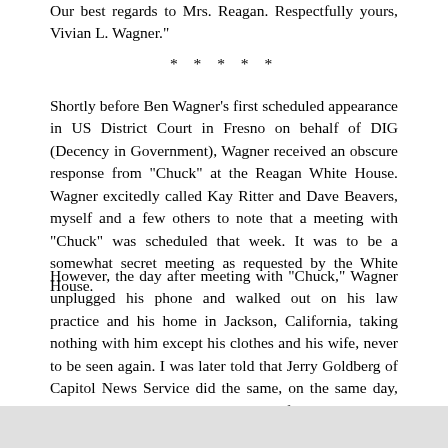Our best regards to Mrs. Reagan. Respectfully yours, Vivian L. Wagner."
* * * * *
Shortly before Ben Wagner’s first scheduled appearance in US District Court in Fresno on behalf of DIG (Decency in Government), Wagner received an obscure response from "Chuck" at the Reagan White House. Wagner excitedly called Kay Ritter and Dave Beavers, myself and a few others to note that a meeting with "Chuck" was scheduled that week. It was to be a somewhat secret meeting as requested by the White House.
However, the day after meeting with "Chuck," Wagner unplugged his phone and walked out on his law practice and his home in Jackson, California, taking nothing with him except his clothes and his wife, never to be seen again. I was later told that Jerry Goldberg of Capitol News Service did the same, on the same day, and I was never able to locate either of them again.